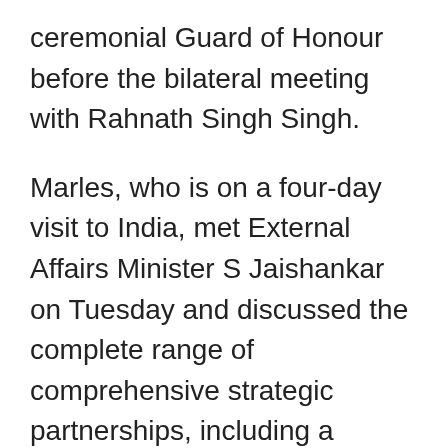ceremonial Guard of Honour before the bilateral meeting with Rahnath Singh Singh.
Marles, who is on a four-day visit to India, met External Affairs Minister S Jaishankar on Tuesday and discussed the complete range of comprehensive strategic partnerships, including a shared commitment to building a stronger and resilient Indo-Pacific.
Marles arrived in India on Monday, which marks the first high-level visit from Australia after newly-elected prime minister Anthony Albanese took office on